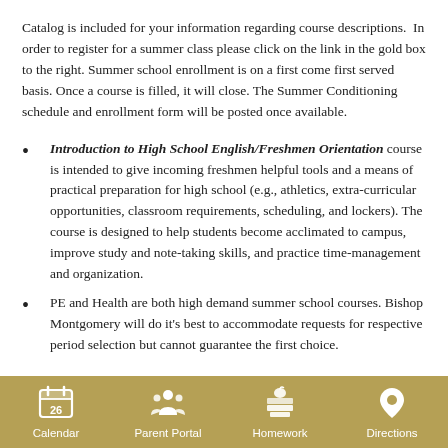Catalog is included for your information regarding course descriptions. In order to register for a summer class please click on the link in the gold box to the right. Summer school enrollment is on a first come first served basis. Once a course is filled, it will close. The Summer Conditioning schedule and enrollment form will be posted once available.
Introduction to High School English/Freshmen Orientation course is intended to give incoming freshmen helpful tools and a means of practical preparation for high school (e.g., athletics, extra-curricular opportunities, classroom requirements, scheduling, and lockers). The course is designed to help students become acclimated to campus, improve study and note-taking skills, and practice time-management and organization.
PE and Health are both high demand summer school courses. Bishop Montgomery will do it's best to accommodate requests for respective period selection but cannot guarantee the first choice.
Calendar  Parent Portal  Homework  Directions